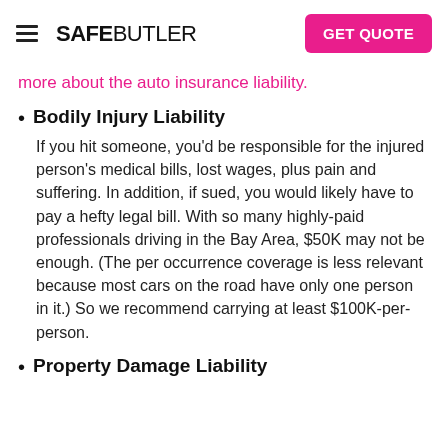SAFEBUTLER | GET QUOTE
more about the auto insurance liability.
Bodily Injury Liability
If you hit someone, you'd be responsible for the injured person's medical bills, lost wages, plus pain and suffering. In addition, if sued, you would likely have to pay a hefty legal bill. With so many highly-paid professionals driving in the Bay Area, $50K may not be enough. (The per occurrence coverage is less relevant because most cars on the road have only one person in it.) So we recommend carrying at least $100K-per-person.
Property Damage Liability